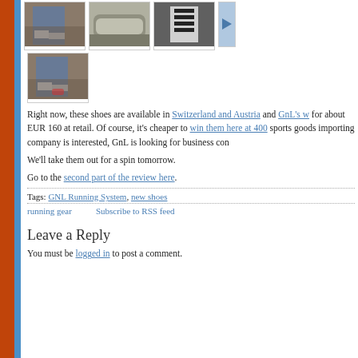[Figure (photo): Row of shoe/product thumbnail images: child in jeans and sneakers, shoe sole close-up, shoe straps detail, partial blue arrow/button]
[Figure (photo): Single thumbnail of child in jeans and sneakers viewed from above]
Right now, these shoes are available in Switzerland and Austria and GnL's w for about EUR 160 at retail. Of course, it's cheaper to win them here at 400 sports goods importing company is interested, GnL is looking for business con
We'll take them out for a spin tomorrow.
Go to the second part of the review here.
Tags: GNL Running System, new shoes
running gear    Subscribe to RSS feed
Leave a Reply
You must be logged in to post a comment.